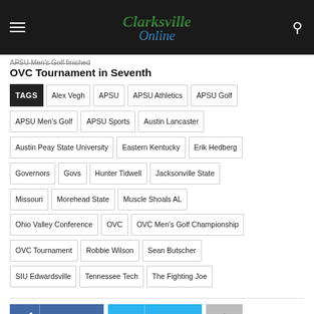Clarksville Online
APSU Men's Golf finished OVC Tournament in Seventh
TAGS: Alex Vegh, APSU, APSU Athletics, APSU Golf, APSU Men's Golf, APSU Sports, Austin Lancaster, Austin Peay State University, Eastern Kentucky, Erik Hedberg, Governors, Govs, Hunter Tidwell, Jacksonville State, Missouri, Morehead State, Muscle Shoals AL, Ohio Valley Conference, OVC, OVC Men's Golf Championship, OVC Tournament, Robbie Wilson, Sean Butscher, SIU Edwardsville, Tennessee Tech, The Fighting Joe